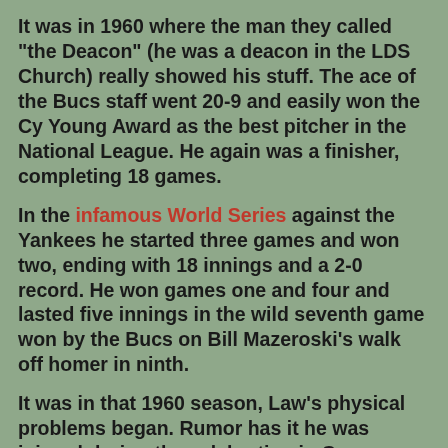It was in 1960 where the man they called "the Deacon" (he was a deacon in the LDS Church) really showed his stuff. The ace of the Bucs staff went 20-9 and easily won the Cy Young Award as the best pitcher in the National League. He again was a finisher, completing 18 games.
In the infamous World Series against the Yankees he started three games and won two, ending with 18 innings and a 2-0 record. He won games one and four and lasted five innings in the wild seventh game won by the Bucs on Bill Mazeroski's walk off homer in ninth.
It was in that 1960 season, Law's physical problems began. Rumor has it he was injured during the celebration in Game Seven. SABR's C. Paul Rogers III writes it was a different situation which actually began much earlier.
"The Pirates clinched the pennant on September 25 while losing to the Braves in Milwaukee. Afterward the Pirates celebrated with champagne in the clubhouse and